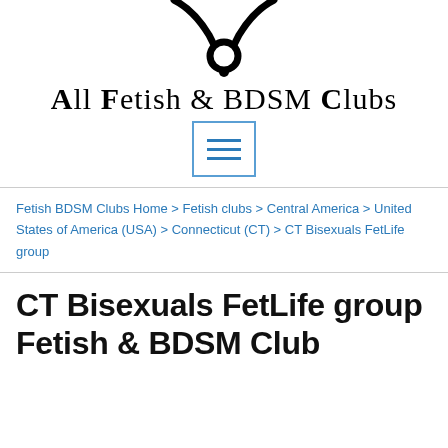[Figure (logo): Black collar/bondage symbol logo for All Fetish & BDSM Clubs]
All Fetish & BDSM Clubs
[Figure (other): Hamburger menu button with three horizontal blue lines inside a blue-bordered square]
Fetish BDSM Clubs Home > Fetish clubs > Central America > United States of America (USA) > Connecticut (CT) > CT Bisexuals FetLife group
CT Bisexuals FetLife group Fetish & BDSM Club